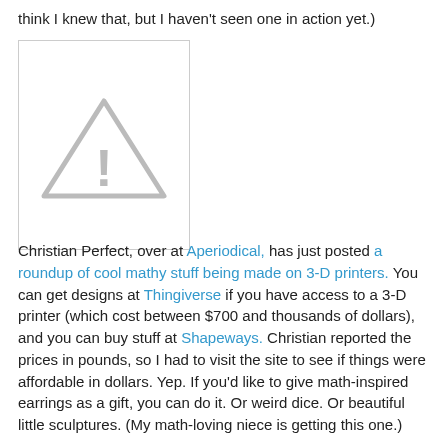think I knew that, but I haven't seen one in action yet.)
[Figure (other): Placeholder image with a warning triangle/exclamation mark icon indicating a missing or broken image]
Christian Perfect, over at Aperiodical, has just posted a roundup of cool mathy stuff being made on 3-D printers. You can get designs at Thingiverse if you have access to a 3-D printer (which cost between $700 and thousands of dollars), and you can buy stuff at Shapeways. Christian reported the prices in pounds, so I had to visit the site to see if things were affordable in dollars. Yep. If you'd like to give math-inspired earrings as a gift, you can do it. Or weird dice. Or beautiful little sculptures. (My math-loving niece is getting this one.)